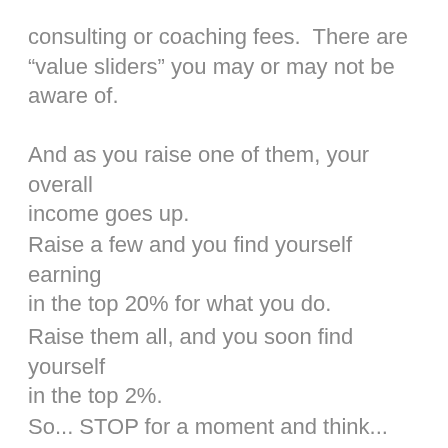its very much the same with your consulting or coaching fees.  There are “value sliders” you may or may not be aware of.
And as you raise one of them, your overall income goes up.
Raise a few and you find yourself earning in the top 20% for what you do.
Raise them all, and you soon find yourself in the top 2%.
So... STOP for a moment and think... Imagine...